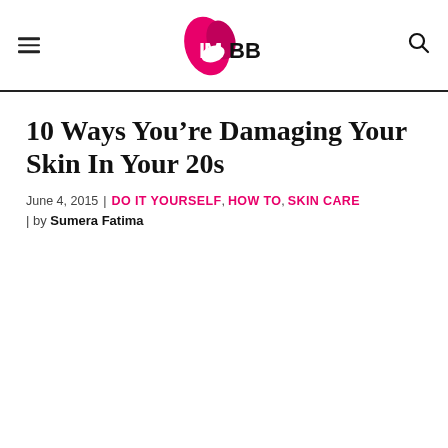IMBB logo, menu icon, search icon
10 Ways You’re Damaging Your Skin In Your 20s
June 4, 2015 | DO IT YOURSELF, HOW TO, SKIN CARE | by Sumera Fatima